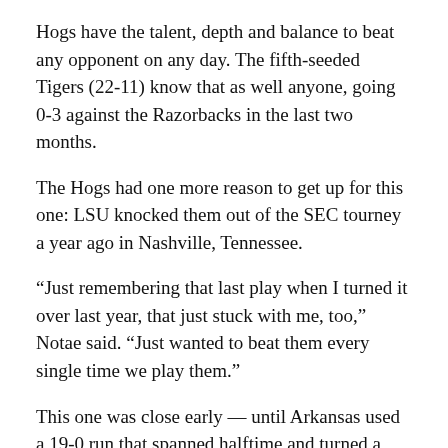Hogs have the talent, depth and balance to beat any opponent on any day. The fifth-seeded Tigers (22-11) know that as well anyone, going 0-3 against the Razorbacks in the last two months.
The Hogs had one more reason to get up for this one: LSU knocked them out of the SEC tourney a year ago in Nashville, Tennessee.
“Just remembering that last play when I turned it over last year, that just stuck with me, too,” Notae said. “Just wanted to beat them every single time we play them.”
This one was close early — until Arkansas used a 19-0 run that spanned halftime and turned a tight game in a lopsided lead.
The Razorbacks scored the final six points of the first half, all by 5-foot-7 guard Lykes, and opened the final 20 minutes with a 13-0 spurt that was the difference